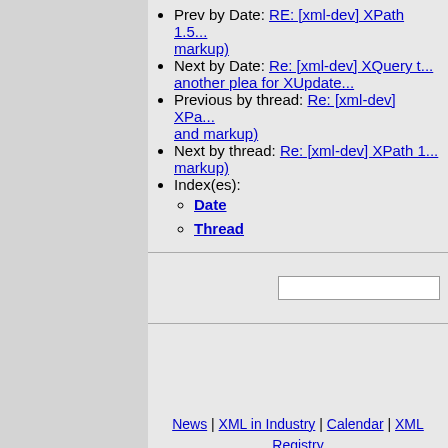Prev by Date: RE: [xml-dev] XPath 1.5... markup)
Next by Date: Re: [xml-dev] XQuery t... another plea for XUpdate...
Previous by thread: Re: [xml-dev] XPa... and markup)
Next by thread: Re: [xml-dev] XPath 1... markup)
Index(es): Date, Thread
News | XML in Industry | Calendar | XML Registry | Marketplace | Resources | MyXML.org | Sponsors | Privacy Statement
Copyright 2001 XML.org. This site is hosted by OASIS